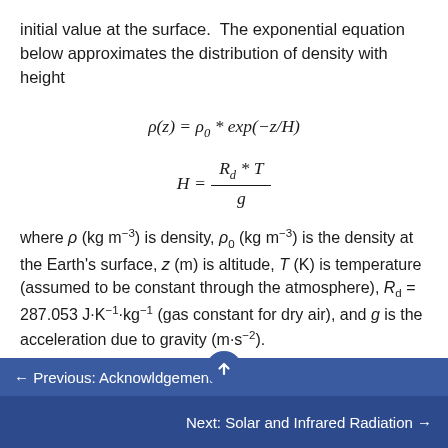initial value at the surface.  The exponential equation below approximates the distribution of density with height
where ρ (kg m⁻³) is density, ρ₀ (kg m⁻³) is the density at the Earth's surface, z (m) is altitude, T (K) is temperature (assumed to be constant through the atmosphere), Rd = 287.053 J·K⁻¹·kg⁻¹ (gas constant for dry air), and g is the acceleration due to gravity (m·s⁻²).
Note: Remember that the equations you see in this text are
← Previous: Acknowldgements
Next: Solar and Infrared Radiation →